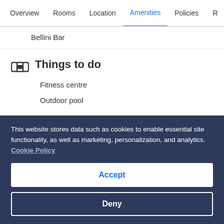Overview | Rooms | Location | Amenities | Policies | R
Bellini Bar
Things to do
Fitness centre
Outdoor pool
Family friendly
DVD player
Free cots/infant beds
This website stores data such as cookies to enable essential site functionality, as well as marketing, personalization, and analytics. Cookie Policy
Accept
Deny